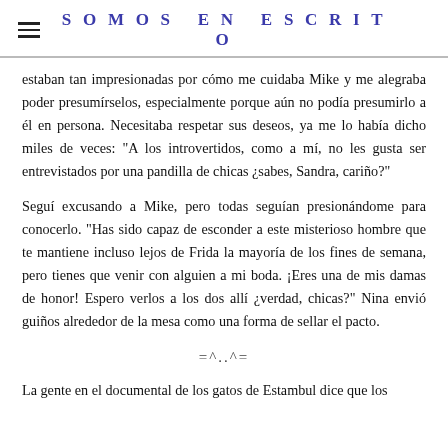SOMOS EN ESCRITO
estaban tan impresionadas por cómo me cuidaba Mike y me alegraba poder presumírselos, especialmente porque aún no podía presumirlo a él en persona. Necesitaba respetar sus deseos, ya me lo había dicho miles de veces: "A los introvertidos, como a mí, no les gusta ser entrevistados por una pandilla de chicas ¿sabes, Sandra, cariño?"
Seguí excusando a Mike, pero todas seguían presionándome para conocerlo. "Has sido capaz de esconder a este misterioso hombre que te mantiene incluso lejos de Frida la mayoría de los fines de semana, pero tienes que venir con alguien a mi boda. ¡Eres una de mis damas de honor! Espero verlos a los dos allí ¿verdad, chicas?" Nina envió guiños alrededor de la mesa como una forma de sellar el pacto.
=^..^=
La gente en el documental de los gatos de Estambul dice que los